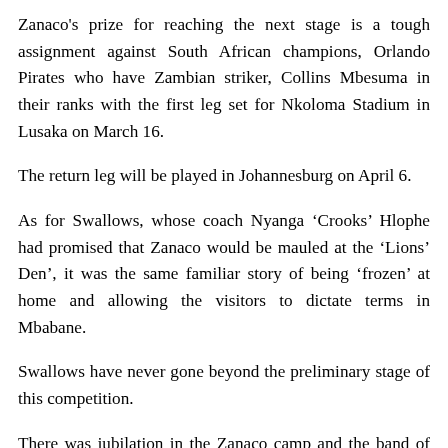Zanaco's prize for reaching the next stage is a tough assignment against South African champions, Orlando Pirates who have Zambian striker, Collins Mbesuma in their ranks with the first leg set for Nkoloma Stadium in Lusaka on March 16.
The return leg will be played in Johannesburg on April 6.
As for Swallows, whose coach Nyanga ‘Crooks’ Hlophe had promised that Zanaco would be mauled at the ‘Lions’ Den’, it was the same familiar story of being ‘frozen’ at home and allowing the visitors to dictate terms in Mbabane.
Swallows have never gone beyond the preliminary stage of this competition.
There was jubilation in the Zanaco camp and the band of their travelling fans after the final whistle of this game which was